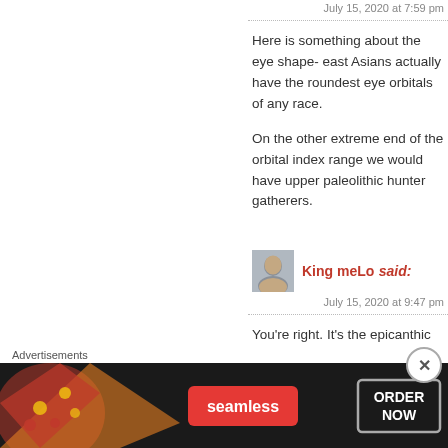July 15, 2020 at 7:59 pm
Here is something about the eye shape- east Asians actually have the roundest eye orbitals of any race.

On the other extreme end of the orbital index range we would have upper paleolithic hunter gatherers.
King meLo said:
July 15, 2020 at 9:47 pm
You're right. It's the epicanthic folds that make them appear
Advertisements
[Figure (photo): Seamless food delivery advertisement showing pizza with 'ORDER NOW' button on dark background]